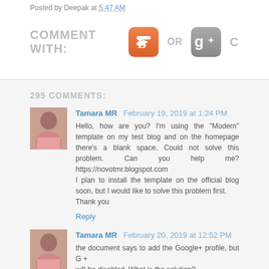Posted by Deepak at 5:47 AM
COMMENT WITH: [Blogger icon] OR [Google+ icon] C
295 COMMENTS:
Tamara MR  February 19, 2019 at 1:24 PM
Hello, how are you? I'm using the "Modern" template on my test blog and on the homepage there's a blank space. Could not solve this problem. Can you help me? https://novotmr.blogspot.com
I plan to install the template on the official blog soon, but I would like to solve this problem first.
Thank you
Reply
Tamara MR  February 20, 2019 at 12:52 PM
the document says to add the Google+ profile, but G + will be disabled. What is the solution?